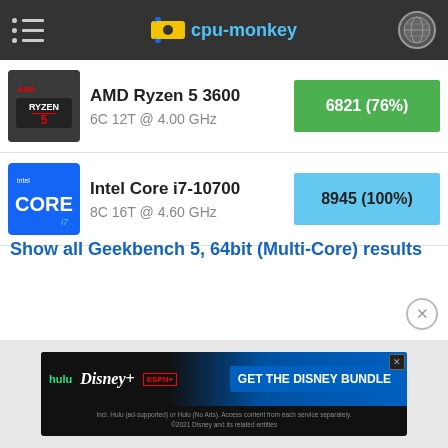cpu-monkey
[Figure (bar-chart): Geekbench 5, 64bit (Multi-Core)]
Show all Geekbench 5, 64bit (Multi-Core) results